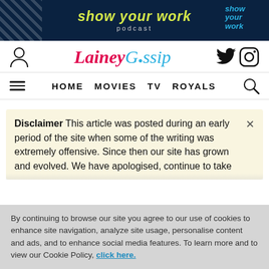[Figure (screenshot): Advertisement banner for 'show your work podcast' on dark navy background with yellow italic text]
[Figure (logo): LaineyGossip website logo with user icon on left and Twitter/Instagram icons on right]
HOME MOVIES TV ROYALS
Disclaimer This article was posted during an early period of the site when some of the writing was extremely offensive. Since then our site has grown and evolved. We have apologised, continue to take
By continuing to browse our site you agree to our use of cookies to enhance site navigation, analyze site usage, personalise content and ads, and to enhance social media features. To learn more and to view our Cookie Policy, click here.